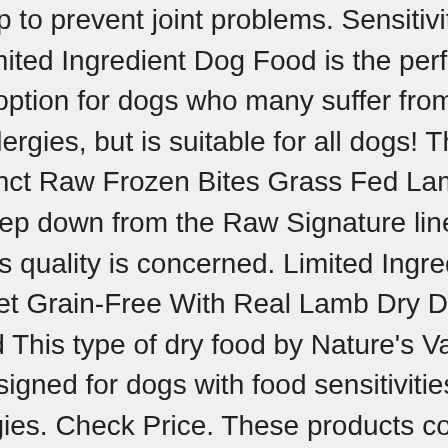help to prevent joint problems. Sensitivities Limited Ingredient Dog Food is the perfect option for dogs who many suffer from allergies, but is suitable for all dogs! The instinct Raw Frozen Bites Grass Fed Lamb is a step down from the Raw Signature line as far as quality is concerned. Limited Ingredient Diet Grain-Free With Real Lamb Dry Dog Food This type of dry food by Nature's Variety is designed for dogs with food sensitivities and allergies. Check Price. These products contain protein from only one animal source apiece: Duck, Lamb, Pork, Rabbit, and Turkey. Nulo Freestyle Limited Grain Free Puppy & Adult Dog Food; Sensitive canines don't have it easy. Instinct dog food is made by Nature's Variety, a small independent dog food manufacturer that is based in St Louis and manufactures its products in Lincoln.